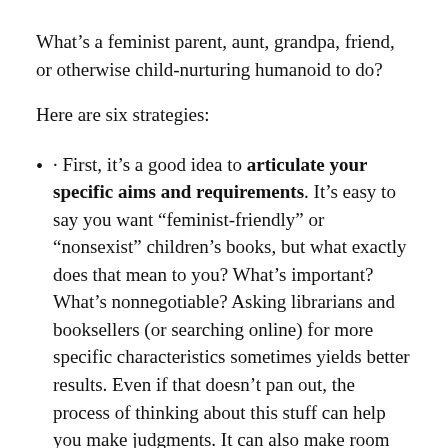What's a feminist parent, aunt, grandpa, friend, or otherwise child-nurturing humanoid to do?
Here are six strategies:
· First, it's a good idea to articulate your specific aims and requirements. It's easy to say you want “feminist-friendly” or “nonsexist” children's books, but what exactly does that mean to you? What's important? What's nonnegotiable? Asking librarians and booksellers (or searching online) for more specific characteristics sometimes yields better results. Even if that doesn't pan out, the process of thinking about this stuff can help you make judgments. It can also make room for awesome conversations with the children in